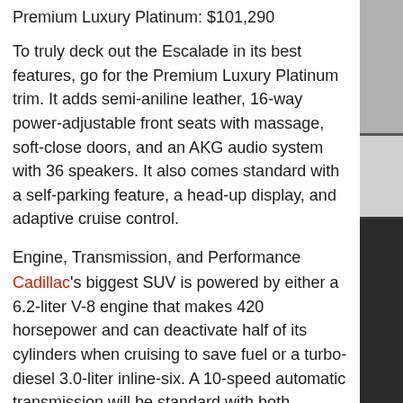Premium Luxury Platinum: $101,290
To truly deck out the Escalade in its best features, go for the Premium Luxury Platinum trim. It adds semi-aniline leather, 16-way power-adjustable front seats with massage, soft-close doors, and an AKG audio system with 36 speakers. It also comes standard with a self-parking feature, a head-up display, and adaptive cruise control.
Engine, Transmission, and Performance
Cadillac's biggest SUV is powered by either a 6.2-liter V-8 engine that makes 420 horsepower and can deactivate half of its cylinders when cruising to save fuel or a turbo-diesel 3.0-liter inline-six. A 10-speed automatic transmission will be standard with both engines, and buyers will be able to choose from rear- or all-wheel-drive setups based on their individual needs. As with its siblings, the Chevrolet Tahoe and Suburban and the GMC Yukon, the 2021 Escalade now rides on an all-new platform with an independent rear suspension to help provide a smoother ride. Higher-end models also offer an